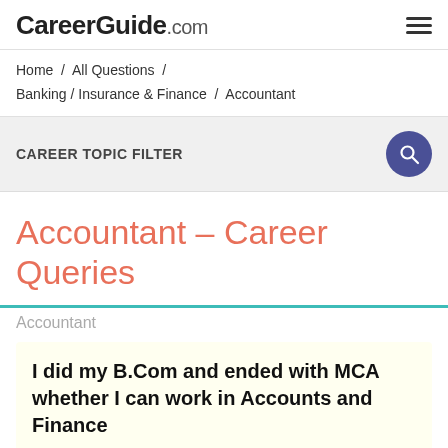CareerGuide.com
Home / All Questions / Banking / Insurance & Finance / Accountant
CAREER TOPIC FILTER
Accountant – Career Queries
Accountant
I did my B.Com and ended with MCA whether I can work in Accounts and Finance